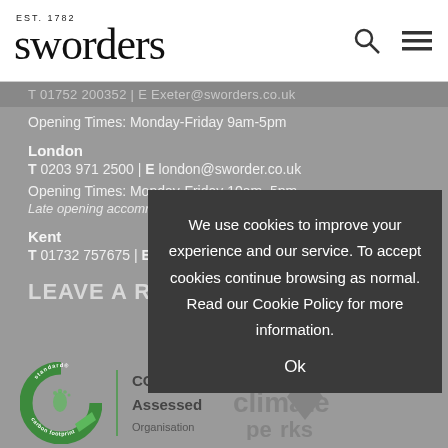EST. 1782 sworders
T 01752 200352 | E Exeter@sworders.co.uk
Opening Times: Monday-Friday 9am-5pm
London
T 0203 971 2500 | E london@sworder.co.uk
Opening Times: Monday-Friday 10am–5pm
Late opening accommodated upon request
Kent
T 01732 757675 | E kent@sworder.co.uk
LEAVE A REVIEW
[Figure (logo): Carbon footprint standard circular green logo]
CO2e Assessed Organisation
[Figure (logo): Climate perks watermark logo]
We use cookies to improve your experience and our service. To accept cookies continue browsing as normal. Read our Cookie Policy for more information. Ok